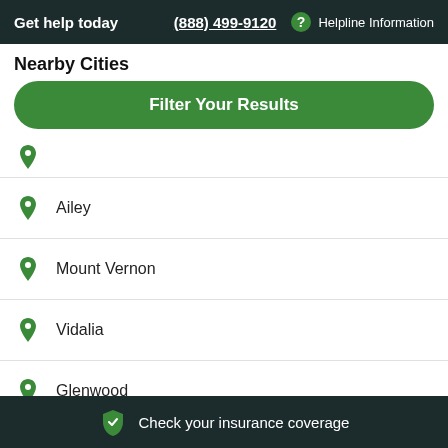Get help today  (888) 499-9120  Helpline Information
Nearby Cities
Filter Your Results
Ailey
Mount Vernon
Vidalia
Glenwood
Alston
Check your insurance coverage